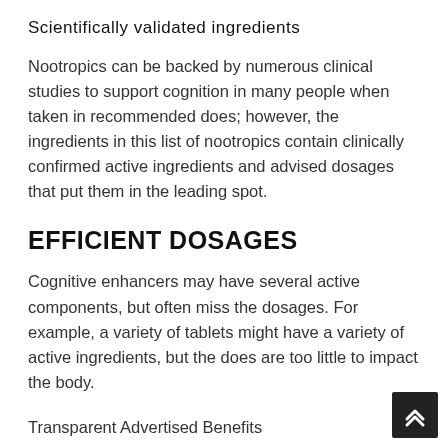Scientifically validated ingredients
Nootropics can be backed by numerous clinical studies to support cognition in many people when taken in recommended does; however, the ingredients in this list of nootropics contain clinically confirmed active ingredients and advised dosages that put them in the leading spot.
EFFICIENT DOSAGES
Cognitive enhancers may have several active components, but often miss the dosages. For example, a variety of tablets might have a variety of active ingredients, but the does are too little to impact the body.
Transparent Advertised Benefits
As kept in mind by Forbes, some nootropic makers